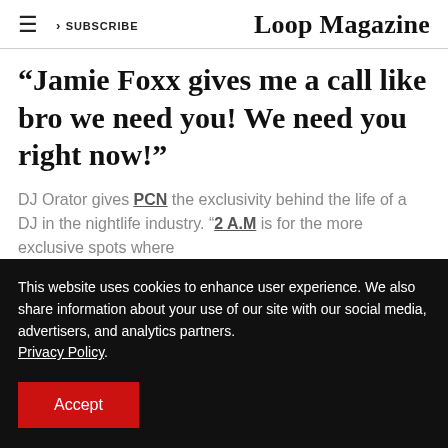Loop Magazine | SUBSCRIBE
“Jamie Foxx gives me a call like bro we need you! We need you right now!”
DJ Orator gives PCN the exclusivity behind the life of a DJ in the nightlife industry. “2 A.M is for the more exclusive spots where
This website uses cookies to enhance user experience. We also share information about your use of our site with our social media, advertisers, and analytics partners. Privacy Policy.
Accept